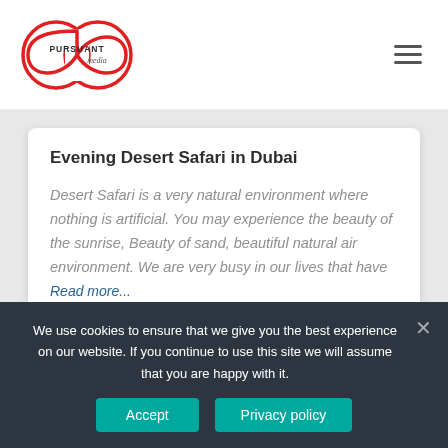[Figure (logo): Pursuant Media logo — infinity/figure-8 loop in red outline with 'PURSUANT' and 'media' text inside]
Evening Desert Safari in Dubai
Desert Safari is a very natural environment where nothing is artificial. You may experience the beauty of the sunrise, Beauty of sand, beautiful natural air environment. We are very busy in our lives that have
Read more...
[Figure (photo): Partial view of a Sony device (tablet or e-reader) on a white background, visible at bottom of page]
We use cookies to ensure that we give you the best experience on our website. If you continue to use this site we will assume that you are happy with it.
Accept
Privacy policy